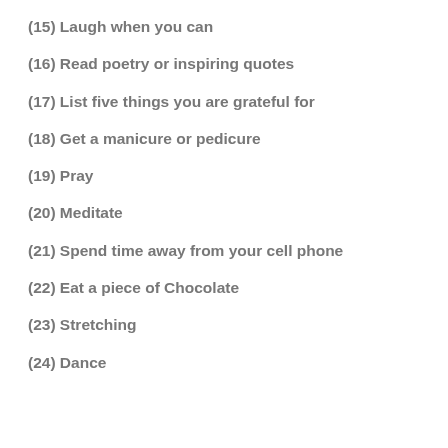(15) Laugh when you can
(16) Read poetry or inspiring quotes
(17) List five things you are grateful for
(18) Get a manicure or pedicure
(19) Pray
(20) Meditate
(21) Spend time away from your cell phone
(22) Eat a piece of Chocolate
(23) Stretching
(24) Dance